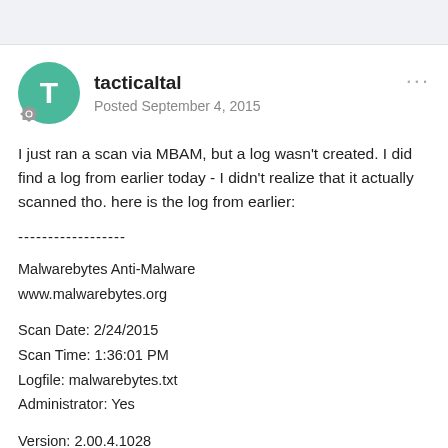tacticaltal
Posted September 4, 2015
I just ran a scan via MBAM, but a log wasn't created. I did find a log from earlier today - I didn't realize that it actually scanned tho. here is the log from earlier:
------------------
Malwarebytes Anti-Malware
www.malwarebytes.org
Scan Date: 2/24/2015
Scan Time: 1:36:01 PM
Logfile: malwarebytes.txt
Administrator: Yes
Version: 2.00.4.1028